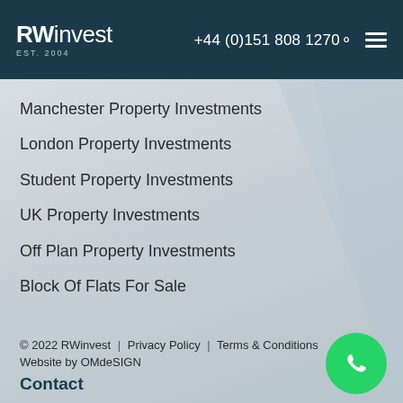RWinvest EST. 2004 | +44 (0)151 808 1270
Manchester Property Investments
London Property Investments
Student Property Investments
UK Property Investments
Off Plan Property Investments
Block Of Flats For Sale
© 2022 RWinvest | Privacy Policy | Terms & Conditions
Website by OMdeSIGN
Contact